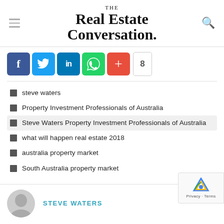THE Real Estate Conversation.
[Figure (screenshot): Social share buttons: Facebook (f), Twitter (bird), LinkedIn (in), WhatsApp (phone), More (+), count badge showing 8]
steve waters
Property Investment Professionals of Australia
Steve Waters Property Investment Professionals of Australia
what will happen real estate 2018
australia property market
South Australia property market
STEVE WATERS